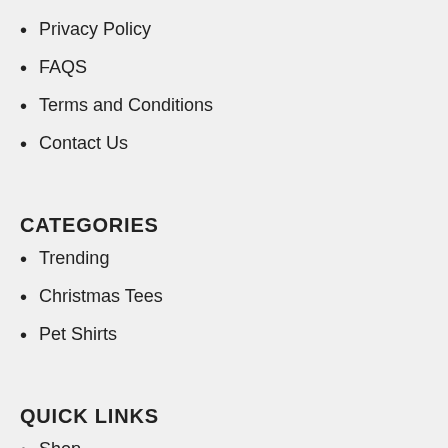Privacy Policy
FAQS
Terms and Conditions
Contact Us
CATEGORIES
Trending
Christmas Tees
Pet Shirts
QUICK LINKS
Shop